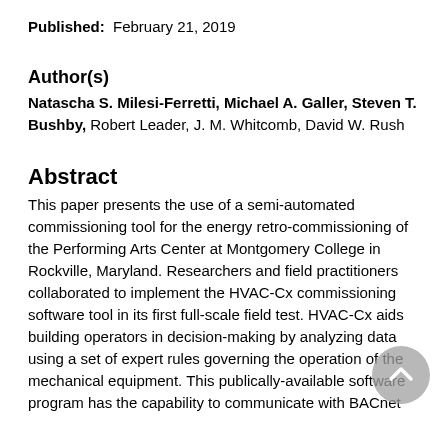Published:  February 21, 2019
Author(s)
Natascha S. Milesi-Ferretti, Michael A. Galler, Steven T. Bushby, Robert Leader, J. M. Whitcomb, David W. Rush
Abstract
This paper presents the use of a semi-automated commissioning tool for the energy retro-commissioning of the Performing Arts Center at Montgomery College in Rockville, Maryland. Researchers and field practitioners collaborated to implement the HVAC-Cx commissioning software tool in its first full-scale field test. HVAC-Cx aids building operators in decision-making by analyzing data using a set of expert rules governing the operation of the mechanical equipment. This publically-available software program has the capability to communicate with BACnet controllers to record the pertinent data with the